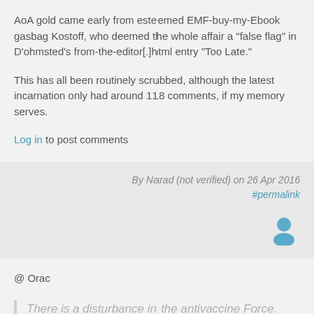AoA gold came early from esteemed EMF-buy-my-Ebook gasbag Kostoff, who deemed the whole affair a "false flag" in D'ohmsted's from-the-editor[.]html entry "Too Late."
This has all been routinely scrubbed, although the latest incarnation only had around 118 comments, if my memory serves.
Log in to post comments
By Narad (not verified) on 26 Apr 2016
#permalink
[Figure (illustration): User avatar icon in blue/teal color]
@ Orac
There is a disturbance in the antivaccine Force.